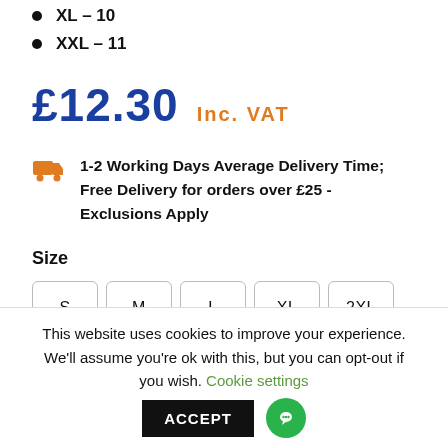XL – 10
XXL – 11
£12.30  Inc. VAT
1-2 Working Days Average Delivery Time; Free Delivery for orders over £25 - Exclusions Apply
Size
S  M  L  XL  2XL
This website uses cookies to improve your experience. We'll assume you're ok with this, but you can opt-out if you wish.  Cookie settings  ACCEPT